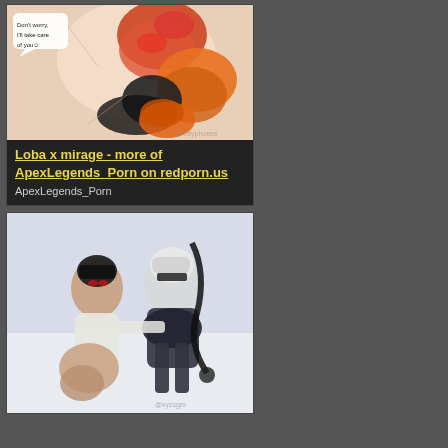[Figure (illustration): Anime/cartoon style illustration - two characters, one orange and red with speech bubble saying 'Don't worry, I'll take care of you']
Loba x mirage - more of ApexLegends_Porn on redporn.us
ApexLegends_Porn
[Figure (illustration): 3D rendered illustration of two female characters in black and white outfits]